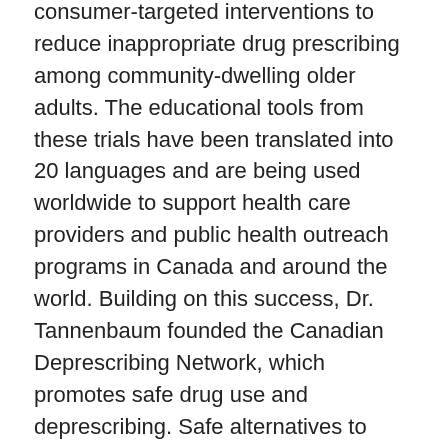consumer-targeted interventions to reduce inappropriate drug prescribing among community-dwelling older adults. The educational tools from these trials have been translated into 20 languages and are being used worldwide to support health care providers and public health outreach programs in Canada and around the world. Building on this success, Dr. Tannenbaum founded the Canadian Deprescribing Network, which promotes safe drug use and deprescribing. Safe alternatives to drugs with potential harm are also promoted.
A strong advocate for women's health and the integration of sex and gender into science and innovation, Cara Tannenbaum was appointed Scientific